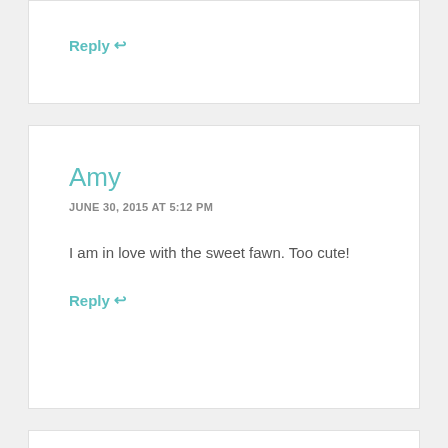Reply ↩
Amy
JUNE 30, 2015 AT 5:12 PM
I am in love with the sweet fawn. Too cute!
Reply ↩
Vickie
JUNE 30, 2015 AT 3:26 PM